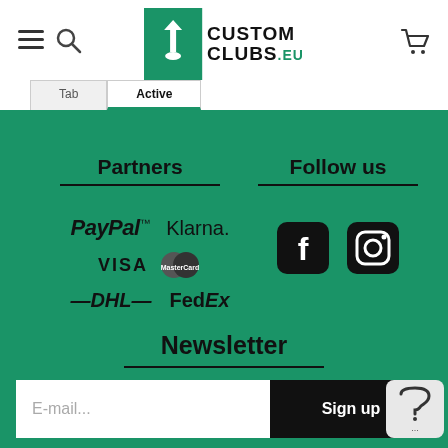[Figure (logo): CustomClubs.eu logo with golf player silhouette on green background]
Partners
[Figure (logo): PayPal, Klarna, VISA, Mastercard, DHL, FedEx partner logos]
Follow us
[Figure (logo): Facebook and Instagram social media icons]
Newsletter
E-mail...
Sign up